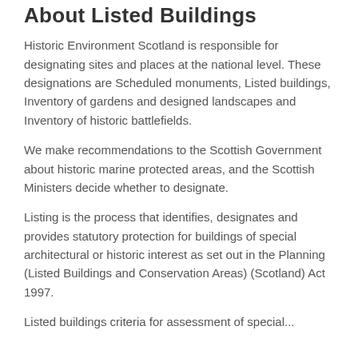About Listed Buildings
Historic Environment Scotland is responsible for designating sites and places at the national level. These designations are Scheduled monuments, Listed buildings, Inventory of gardens and designed landscapes and Inventory of historic battlefields.
We make recommendations to the Scottish Government about historic marine protected areas, and the Scottish Ministers decide whether to designate.
Listing is the process that identifies, designates and provides statutory protection for buildings of special architectural or historic interest as set out in the Planning (Listed Buildings and Conservation Areas) (Scotland) Act 1997.
Listed buildings criteria for assessment of special...